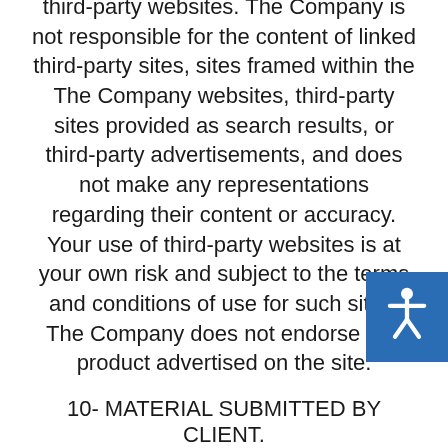third-party websites. The Company is not responsible for the content of linked third-party sites, sites framed within the The Company websites, third-party sites provided as search results, or third-party advertisements, and does not make any representations regarding their content or accuracy. Your use of third-party websites is at your own risk and subject to the terms and conditions of use for such sites. The Company does not endorse any product advertised on the site.
10- MATERIAL SUBMITTED BY CLIENT.
One service of The Company is updating and